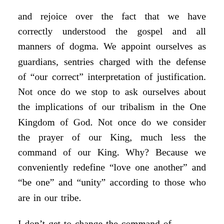and rejoice over the fact that we have correctly understood the gospel and all manners of dogma. We appoint ourselves as guardians, sentries charged with the defense of “our correct” interpretation of justification. Not once do we stop to ask ourselves about the implications of our tribalism in the One Kingdom of God. Not once do we consider the prayer of our King, much less the command of our King. Why? Because we conveniently redefine “love one another” and “be one” and “unity” according to those who are in our tribe.
I don’t get to change the command of [text continues below]